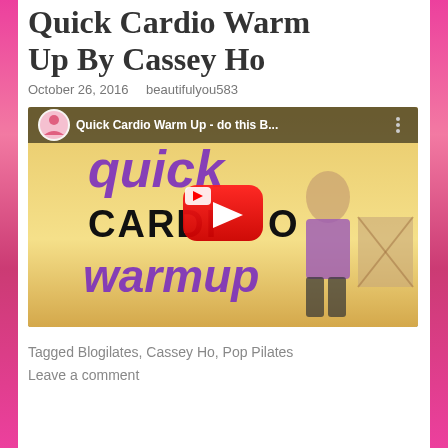Quick Cardio Warm Up By Cassey Ho
October 26, 2016   beautifulyou583
[Figure (screenshot): YouTube video thumbnail for 'Quick Cardio Warm Up - do this B...' showing a woman in a lunge position with purple text 'quick CARDIO warmup' and a red YouTube play button overlay. Thumbnail has a YouTube logo and channel icon in the top left.]
Tagged Blogilates, Cassey Ho, Pop Pilates
Leave a comment